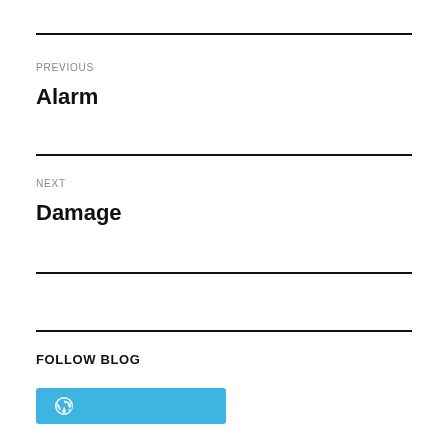PREVIOUS
Alarm
NEXT
Damage
FOLLOW BLOG
[Figure (logo): WordPress follow button with blue background and WordPress logo icon]